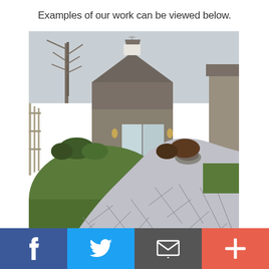Examples of our work can be viewed below.
[Figure (photo): Outdoor patio with flagstone/stamped concrete pathway and patio area leading to a gray shingle cottage-style building with cupola and white sliding glass doors, surrounded by lawn, shrubs, and wooden fence. A stone fire pit is visible near the building.]
[Figure (infographic): Social media sharing bar with four buttons: Facebook (dark blue, f icon), Twitter (light blue, bird icon), Email/share (dark gray, envelope icon), and Add/more (coral/red, plus icon)]